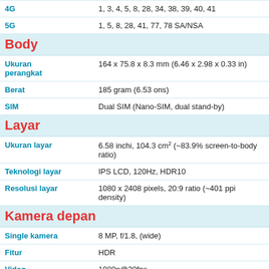| 4G | 1, 3, 4, 5, 8, 28, 34, 38, 39, 40, 41 |
| 5G | 1, 5, 8, 28, 41, 77, 78 SA/NSA |
Body
| Ukuran perangkat | 164 x 75.8 x 8.3 mm (6.46 x 2.98 x 0.33 in) |
| Berat | 185 gram (6.53 ons) |
| SIM | Dual SIM (Nano-SIM, dual stand-by) |
Layar
| Ukuran layar | 6.58 inchi, 104.3 cm² (~83.9% screen-to-body ratio) |
| Teknologi layar | IPS LCD, 120Hz, HDR10 |
| Resolusi layar | 1080 x 2408 pixels, 20:9 ratio (~401 ppi density) |
Kamera depan
| Single kamera | 8 MP, f/1.8, (wide) |
| Fitur | HDR |
| Video | 1080p@30fps |
Kamera belakang